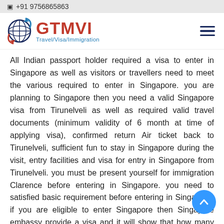☐ +91 9756865863
[Figure (logo): GTMVI Travel/Visa/Immigration logo with globe icon and hamburger menu]
All Indian passport holder required a visa to enter in Singapore as well as visitors or travellers need to meet the various required to enter in Singapore. you are planning to Singapore then you need a valid Singapore visa from Tirunelveli as well as required valid travel documents (minimum validity of 6 month at time of applying visa), confirmed return Air ticket back to Tirunelveli, sufficient fun to stay in Singapore during the visit, entry facilities and visa for entry in Singapore from Tirunelveli. you must be present yourself for immigration Clarence before entering in Singapore. you need to satisfied basic requirement before entering in Singapore. if you are eligible to enter Singapore then Singapore embassy provide a visa and it will show that how many days you can stay in